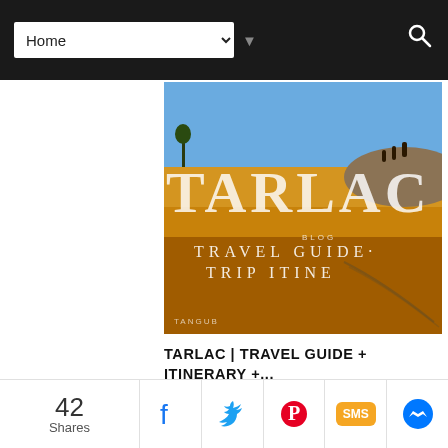Home (navigation dropdown)
[Figure (photo): Tarlac travel guide banner image showing golden wheat fields, large text 'TARLAC' overlaid, subtitle 'TRAVEL GUIDE · TRIP ITINE...', silhouettes of people on a hill, text 'TANGUB' at bottom left]
TARLAC | TRAVEL GUIDE + ITINERARY +...
[Figure (photo): Blue sky with clouds photo, partial view]
42 Shares — social share buttons: Facebook, Twitter, Pinterest, SMS, Messenger